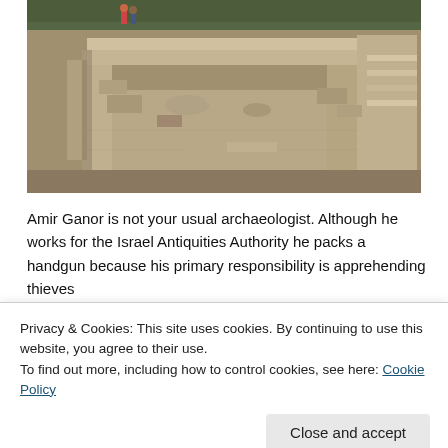[Figure (photo): Aerial/overhead view of an archaeological excavation site showing stone ruins, column fragments, and large stone blocks arranged in rectangular formations on sandy/dirt ground. Two people visible in the upper left corner.]
Amir Ganor is not your usual archaeologist. Although he works for the Israel Antiquities Authority he packs a handgun because his primary responsibility is apprehending thieves
Privacy & Cookies: This site uses cookies. By continuing to use this website, you agree to their use.
To find out more, including how to control cookies, see here: Cookie Policy
Ganor to the site where a large stone lintel was uncovered.